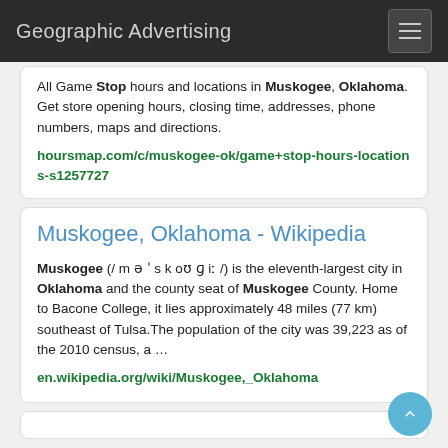Geographic Advertising
All Game Stop hours and locations in Muskogee, Oklahoma. Get store opening hours, closing time, addresses, phone numbers, maps and directions.
hoursmap.com/c/muskogee-ok/game+stop-hours-locations-s1257727
Muskogee, Oklahoma - Wikipedia
Muskogee (/ m ə ˈ s k oʊ ɡ iː /) is the eleventh-largest city in Oklahoma and the county seat of Muskogee County. Home to Bacone College, it lies approximately 48 miles (77 km) southeast of Tulsa.The population of the city was 39,223 as of the 2010 census, a …
en.wikipedia.org/wiki/Muskogee,_Oklahoma